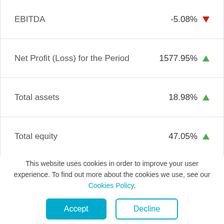| Metric | Change |
| --- | --- |
| EBITDA | -5.08% ▼ |
| Net Profit (Loss) for the Period | 1577.95% ▲ |
| Total assets | 18.98% ▲ |
| Total equity | 47.05% ▲ |
| Operating Profit Margin (ROS) | -2.36% ▼ |
| Net Profit Margin | 1.74% ▲ |
| Return on Equity (ROE) | 0.32% ▲ |
| Debt to Equity Ratio | -22.97% ▼ |
| Quick Ratio | 1.44% ▲ |
This website uses cookies in order to improve your user experience. To find out more about the cookies we use, see our Cookies Policy.